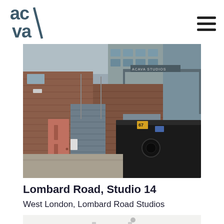[Figure (logo): ACAVA logo — stylized lowercase letters 'ac' over 'va' in dark teal/slate color]
[Figure (photo): Exterior alleyway of a brick industrial building with corrugated roller-shutter garage doors, a pink/salmon-colored door, a large black metal skip/dumpster container, and a sign reading 'ACAVA STUDIOS' on a gantry overhead. Overcast sky visible.]
Lombard Road, Studio 14
West London, Lombard Road Studios
[Figure (photo): Partial view of an interior room with white walls and what appears to be a light fitting on the ceiling — only the top portion is visible.]